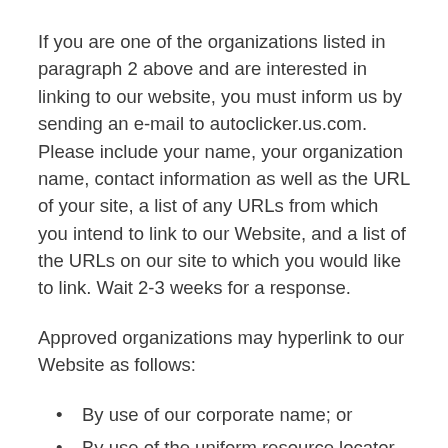If you are one of the organizations listed in paragraph 2 above and are interested in linking to our website, you must inform us by sending an e-mail to autoclicker.us.com. Please include your name, your organization name, contact information as well as the URL of your site, a list of any URLs from which you intend to link to our Website, and a list of the URLs on our site to which you would like to link. Wait 2-3 weeks for a response.
Approved organizations may hyperlink to our Website as follows:
By use of our corporate name; or
By use of the uniform resource locator being linked to; or